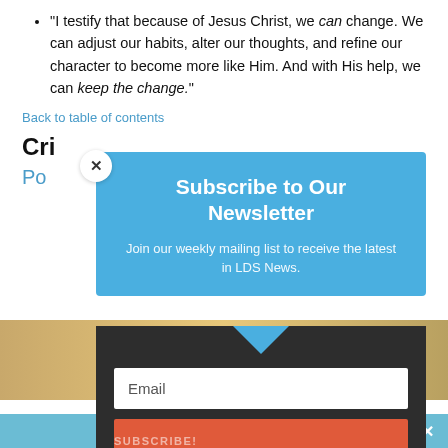“I testify that because of Jesus Christ, we can change. We can adjust our habits, alter our thoughts, and refine our character to become more like Him. And with His help, we can keep the change.”
Back to table of contents
Cri...
Po...
[Figure (screenshot): Newsletter subscription modal overlay with blue header box containing 'Subscribe to Our Newsletter' title and subtitle 'Join our weekly mailing list to receive the latest in LDS News.', dark bottom section with email input field and red subscribe button. Close X button in top-left of modal.]
Share This